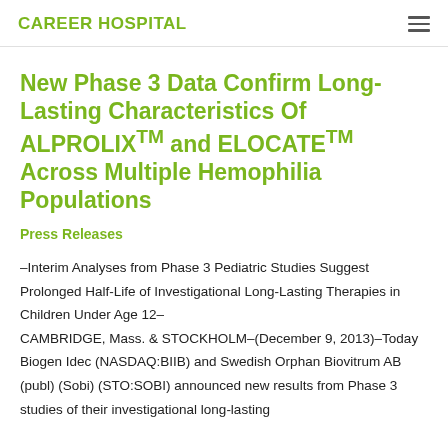CAREER HOSPITAL
New Phase 3 Data Confirm Long-Lasting Characteristics Of ALPROLIXTM and ELOCTATETM Across Multiple Hemophilia Populations
Press Releases
–Interim Analyses from Phase 3 Pediatric Studies Suggest Prolonged Half-Life of Investigational Long-Lasting Therapies in Children Under Age 12–
CAMBRIDGE, Mass. & STOCKHOLM–(December 9, 2013)–Today Biogen Idec (NASDAQ:BIIB) and Swedish Orphan Biovitrum AB (publ) (Sobi) (STO:SOBI) announced new results from Phase 3 studies of their investigational long-lasting